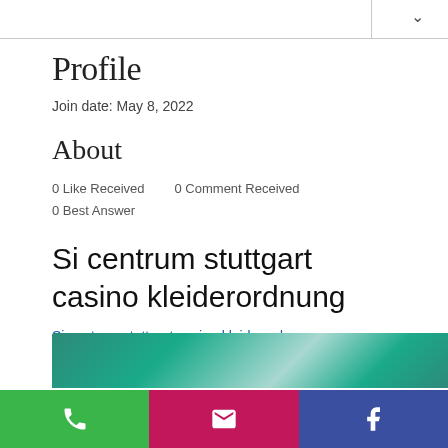Profile
Join date: May 8, 2022
About
0 Like Received   0 Comment Received
0 Best Answer
Si centrum stuttgart casino kleiderordnung
Si centrum stuttgart casino kleiderordnung
[Figure (photo): Blurred background image with green and teal tones]
Phone | Email | Facebook